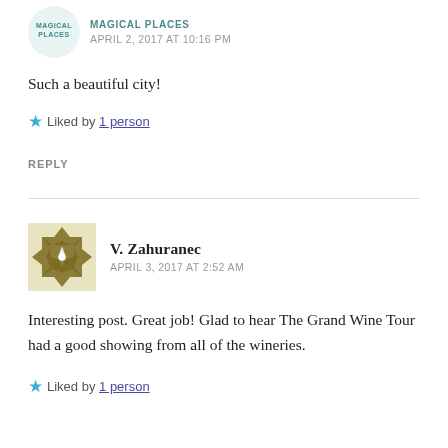MAGICAL PLACES  APRIL 2, 2017 AT 10:16 PM
Such a beautiful city!
★ Liked by 1 person
REPLY
V. Zahuranec  APRIL 3, 2017 AT 2:52 AM
Interesting post. Great job! Glad to hear The Grand Wine Tour had a good showing from all of the wineries.
★ Liked by 1 person